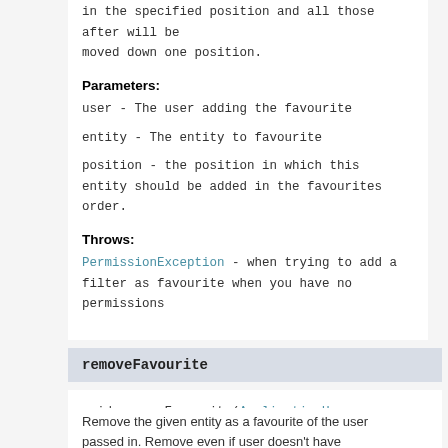in the specified position and all those after will be moved down one position.
Parameters:
user - The user adding the favourite
entity - The entity to favourite
position - the position in which this entity should be added in the favourites order.
Throws:
PermissionException - when trying to add a filter as favourite when you have no permissions
removeFavourite
void removeFavourite(ApplicationUser user, S entity)
Remove the given entity as a favourite of the user passed in. Remove even if user doesn't have